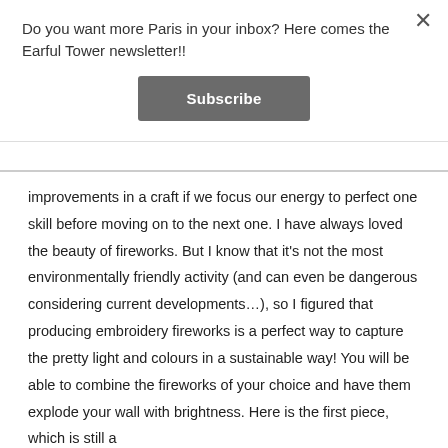Do you want more Paris in your inbox? Here comes the Earful Tower newsletter!!
Subscribe
improvements in a craft if we focus our energy to perfect one skill before moving on to the next one. I have always loved the beauty of fireworks. But I know that it's not the most environmentally friendly activity (and can even be dangerous considering current developments…), so I figured that producing embroidery fireworks is a perfect way to capture the pretty light and colours in a sustainable way! You will be able to combine the fireworks of your choice and have them explode your wall with brightness. Here is the first piece, which is still a